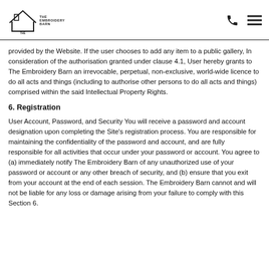The Embroidery Barn logo, phone icon, menu icon
provided by the Website. If the user chooses to add any item to a public gallery, In consideration of the authorisation granted under clause 4.1, User hereby grants to The Embroidery Barn an irrevocable, perpetual, non-exclusive, world-wide licence to do all acts and things (including to authorise other persons to do all acts and things) comprised within the said Intellectual Property Rights.
6. Registration
User Account, Password, and Security You will receive a password and account designation upon completing the Site's registration process. You are responsible for maintaining the confidentiality of the password and account, and are fully responsible for all activities that occur under your password or account. You agree to (a) immediately notify The Embroidery Barn of any unauthorized use of your password or account or any other breach of security, and (b) ensure that you exit from your account at the end of each session. The Embroidery Barn cannot and will not be liable for any loss or damage arising from your failure to comply with this Section 6.